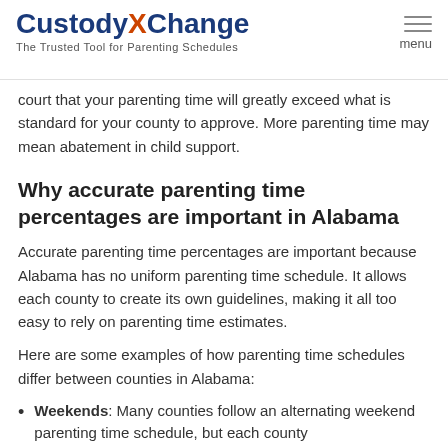CustodyXChange – The Trusted Tool for Parenting Schedules | menu
court that your parenting time will greatly exceed what is standard for your county to approve. More parenting time may mean abatement in child support.
Why accurate parenting time percentages are important in Alabama
Accurate parenting time percentages are important because Alabama has no uniform parenting time schedule. It allows each county to create its own guidelines, making it all too easy to rely on parenting time estimates.
Here are some examples of how parenting time schedules differ between counties in Alabama:
Weekends: Many counties follow an alternating weekend parenting time schedule, but each county